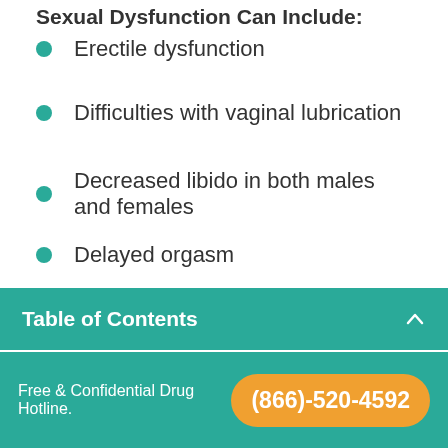Sexual Dysfunction Can Include:
Erectile dysfunction
Difficulties with vaginal lubrication
Decreased libido in both males and females
Delayed orgasm
Anorgasmia
Fortunately, as with most Paxil long term side effects, sexual dysfunction is strongly dose-dependent and can often remit with continued...
Table of Contents
Free & Confidential Drug Hotline.  (866)-520-4592